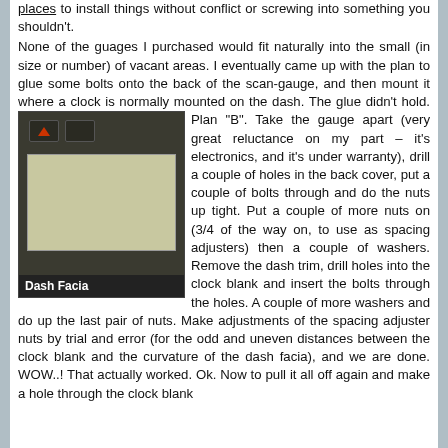places to install things without conflict or screwing into something you shouldn't. None of the guages I purchased would fit naturally into the small (in size or number) of vacant areas. I eventually came up with the plan to glue some bolts onto the back of the scan-gauge, and then mount it where a clock is normally mounted on the dash. The glue didn't hold. Plan "B". Take the gauge apart (very great reluctance on my part – it's electronics, and it's under warranty), drill a couple of holes in the back cover, put a couple of bolts through and do the nuts up tight. Put a couple of more nuts on (3/4 of the way on, to use as spacing adjusters) then a couple of washers. Remove the dash trim, drill holes into the clock blank and insert the bolts through the holes. A couple of more washers and do up the last pair of nuts. Make adjustments of the spacing adjuster nuts by trial and error (for the odd and uneven distances between the clock blank and the curvature of the dash facia), and we are done. WOW..! That actually worked. Ok. Now to pull it all off again and make a hole through the clock blank
[Figure (photo): Photo of a dark car dash facia panel with buttons/switches at top and a beige/tan colored panel area below. Caption reads 'Dash Facia'.]
Dash Facia